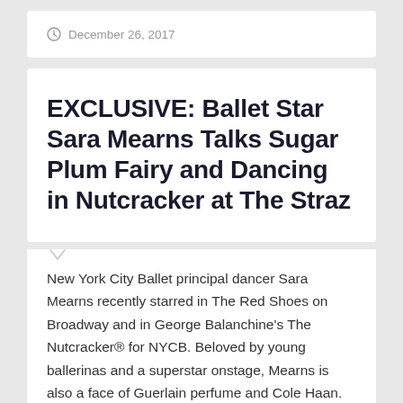December 26, 2017
EXCLUSIVE: Ballet Star Sara Mearns Talks Sugar Plum Fairy and Dancing in Nutcracker at The Straz
New York City Ballet principal dancer Sara Mearns recently starred in The Red Shoes on Broadway and in George Balanchine's The Nutcracker® for NYCB. Beloved by young ballerinas and a superstar onstage, Mearns is also a face of Guerlain perfume and Cole Haan. She works with many dance organizations to inspire people to love classical...